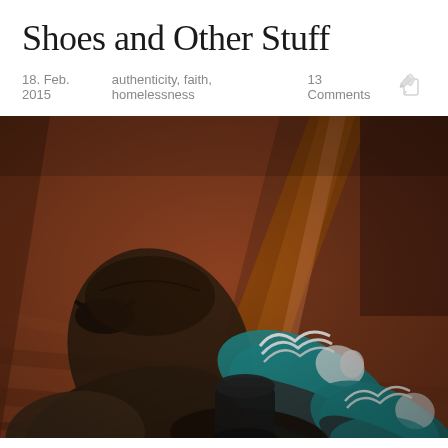Shoes and Other Stuff
18. Feb. 2015   authenticity, faith, homelessness   13 Comments
[Figure (photo): Photograph of several pairs of shoes on a wooden floor near a wooden door frame: dark brown moccasin-style shoes on the left, teal/turquoise sneakers in the middle, and another pair of teal sneakers on the right, partially visible at the bottom.]